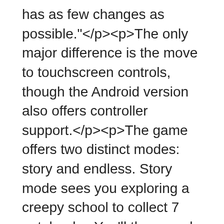has as few changes as possible."</p><p>The only major difference is the move to touchscreen controls, though the Android version also offers controller support.</p><p>The game offers two distinct modes: story and endless. Story mode sees you exploring a creepy school to collect 7 notebooks. You'll then need to make your escape before Baldi finds you. But beware! The more notes you collect, the faster Baldi becomes.</p><p>Endless mode also tasks you with finding notebooks and avoiding Baldi. It's all about seeing how many of them you can collect, and you're going to have to slow Baldi down by solving notebook puzzles if you're to survive.</p><p>The original game spawned a dedicated following thanks to its unique visual style and